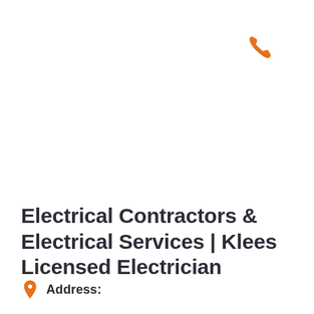[Figure (illustration): Orange phone/call icon in the upper right area of the page]
Electrical Contractors & Electrical Services | Klees Licensed Electrician
Address: